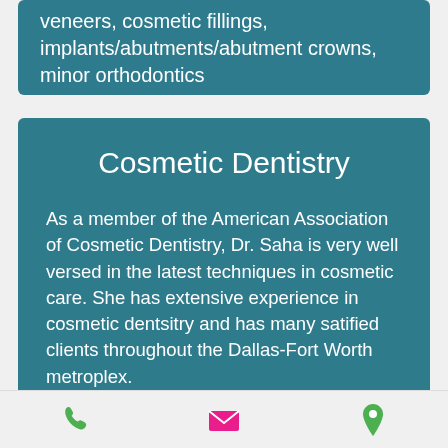veneers, cosmetic fillings, implants/abutments/abutment crowns, minor orthodontics
Cosmetic Dentistry
As a member of the American Association of Cosmetic Dentistry, Dr. Saha is very well versed in the latest techniques in cosmetic care. She has extensive experience in cosmetic dentsitry and has many satified clients throughout the Dallas-Fort Worth metroplex.
Services: teeth whitening, bonding, tooth colored fillings, porcelain crowns, enamel shaping…
[Figure (infographic): Bottom navigation bar with phone icon (green), email icon (pink/red), and location icon (green)]